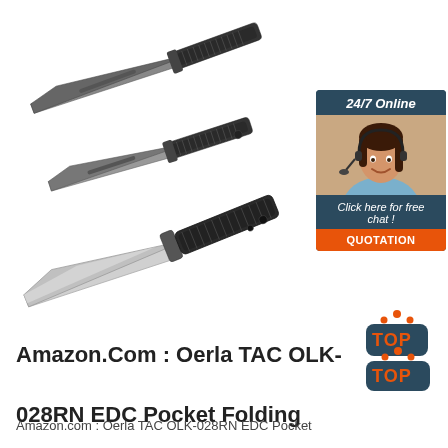[Figure (photo): Three tactical/EDC pocket folding knives shown at diagonal angles. Top two knives are dark/black with textured handles. Bottom knife has a silver/polished blade with dark patterned handle. Also includes a chat widget overlay in the top right corner showing a woman with headset, '24/7 Online' header, 'Click here for free chat!' text, and orange 'QUOTATION' button.]
Amazon.Com : Oerla TAC OLK-028RN EDC Pocket Folding
Amazon.com : Oerla TAC OLK-028RN EDC Pocket